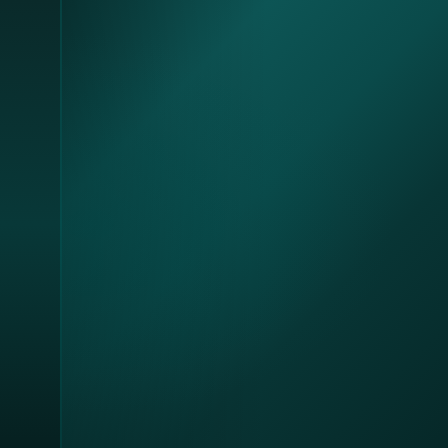nianow.com/carlsononline
subrion.org/forums/members/mca
forums.ernieball.com/members/46
szene.digitalkamera.de/members.
www.avenza.com/forums/users/ca
social.joyetech.com/member.php
feedback.bistudio.com/p/darnellja
yolotheme.com/forums/users/carls
openuserjs.org/users/darnelljason
www.hashatit.com/darnelljason12
p.mobile9.com/darnelljason12/
www.cutoutandkeep.net/users/62-
www.startus.cc/people/jason_dam
v4-bootstrap.phpfox.com/profile-1
hire.careerbliss.com/company/mc
www.efunda.com/members/peopl
www.artistsandillustrators.co.uk/d
www.avenza.com/forums/users/ca
social.joyetech.com/member.php
social.joyetech.com/member.php
feedback.bistudio.com/p/carlsono
www.efunda.com/members/peopl
insidesalescareers.aa-isp.org/em
jobs.innovationleader.com/employ
www.projectlibre.com/users/dame
www.heromachine.com/forums/us
techsytalk.com/members/darnellja
community.hedonism.com/membe
xceed.com/forums/users/darnellja
starity.hu/profil/276849-carlsonon
www.bitsdujour.com/profiles/sryEE
lwccareers.lindsey.edu/employers
www.goldposter.com/members/ca
www1.ownskin.com/home
forum.supremacy1914.com/index